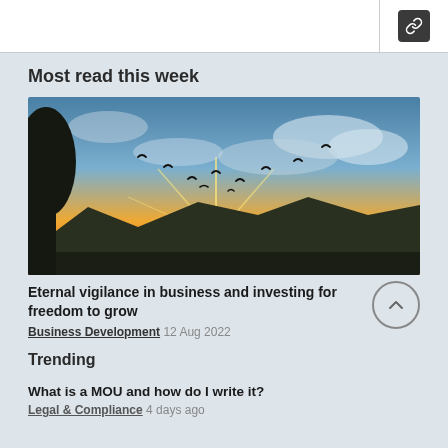[link icon]
Most read this week
[Figure (photo): Photograph of birds flying in a V-formation silhouetted against a dramatic sunset sky with orange and golden light radiating from behind mountains, with a tree silhouette on the left.]
Eternal vigilance in business and investing for freedom to grow
Business Development 12 Aug 2022
Trending
What is a MOU and how do I write it?
Legal & Compliance 4 days ago